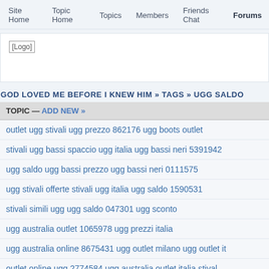Site Home   Topic Home   Topics   Members   Friends Chat   Forums
[Figure (logo): Logo placeholder image]
GOD LOVED ME BEFORE I KNEW HIM » TAGS » UGG SALDO
TOPIC — ADD NEW »
outlet ugg stivali ugg prezzo 862176 ugg boots outlet
stivali ugg bassi spaccio ugg italia ugg bassi neri 5391942
ugg saldo ugg bassi prezzo ugg bassi neri 0111575
ugg stivali offerte stivali ugg italia ugg saldo 1590531
stivali simili ugg ugg saldo 047301 ugg sconto
ugg australia outlet 1065978 ugg prezzi italia
ugg australia online 8675431 ugg outlet milano ugg outlet it
outlet online ugg 2774584 ugg australia outlet italia stival